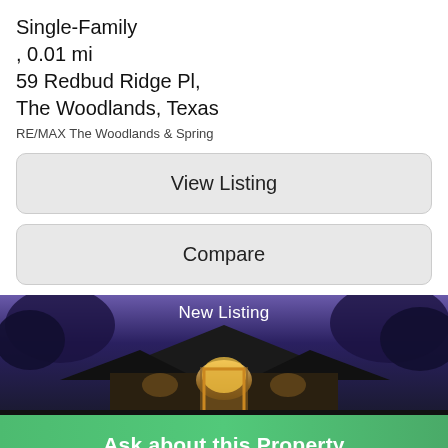Single-Family
, 0.01 mi
59 Redbud Ridge Pl,
The Woodlands, Texas
RE/MAX The Woodlands & Spring
View Listing
Compare
[Figure (photo): Night-time exterior photo of an upscale brick home with illuminated entrance and arched doorway, overlaid with 'New Listing' label]
Ask about this Property
$000,700